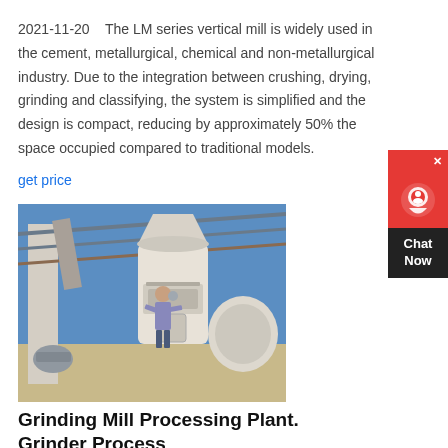2021-11-20    The LM series vertical mill is widely used in the cement, metallurgical, chemical and non-metallurgical industry. Due to the integration between crushing, drying, grinding and classifying, the system is simplified and the design is compact, reducing by approximately 50% the space occupied compared to traditional models.
get price
[Figure (photo): Outdoor industrial grinding mill / processing plant machinery with a worker standing in front, under a metal roof structure, blue sky background.]
Grinding Mill Processing Plant. Grinder Process